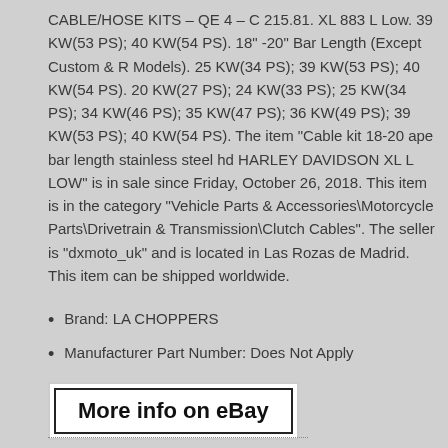CABLE/HOSE KITS – QE 4 – C 215.81. XL 883 L Low. 39 KW(53 PS); 40 KW(54 PS). 18" -20" Bar Length (Except Custom & R Models). 25 KW(34 PS); 39 KW(53 PS); 40 KW(54 PS). 20 KW(27 PS); 24 KW(33 PS); 25 KW(34 PS); 34 KW(46 PS); 35 KW(47 PS); 36 KW(49 PS); 39 KW(53 PS); 40 KW(54 PS). The item "Cable kit 18-20 ape bar length stainless steel hd HARLEY DAVIDSON XL L LOW" is in sale since Friday, October 26, 2018. This item is in the category "Vehicle Parts & Accessories\Motorcycle Parts\Drivetrain & Transmission\Clutch Cables". The seller is “dxmoto_uk” and is located in Las Rozas de Madrid. This item can be shipped worldwide.
Brand: LA CHOPPERS
Manufacturer Part Number: Does Not Apply
[Figure (other): More info on eBay button with white background and black border]